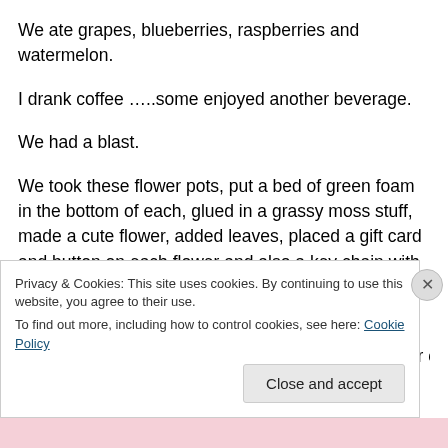We ate grapes, blueberries, raspberries and watermelon.
I drank coffee …..some enjoyed another beverage.
We had a blast.
We took these flower pots, put a bed of green foam in the bottom of each, glued in a grassy moss stuff, made a cute flower, added leaves, placed a gift card and button on each flower and also a key chain with an inspirational saying from the child to the teacher.  They were so cute.
Wrapped in cello – coloured on the bottom and clear over
Privacy & Cookies: This site uses cookies. By continuing to use this website, you agree to their use.
To find out more, including how to control cookies, see here: Cookie Policy